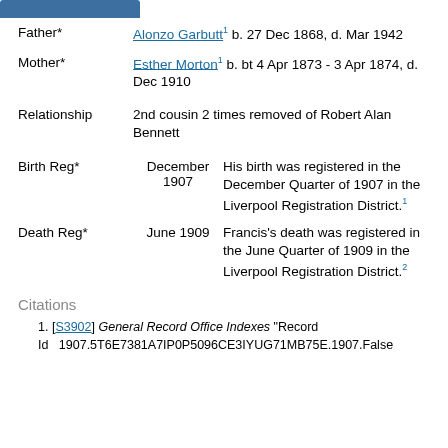Father* Alonzo Garbutt¹ b. 27 Dec 1868, d. Mar 1942
Mother* Esther Morton¹ b. bt 4 Apr 1873 - 3 Apr 1874, d. Dec 1910
Relationship 2nd cousin 2 times removed of Robert Alan Bennett
Birth Reg* December 1907 His birth was registered in the December Quarter of 1907 in the Liverpool Registration District.¹
Death Reg* June 1909 Francis's death was registered in the June Quarter of 1909 in the Liverpool Registration District.²
Citations
1. [S3902] General Record Office Indexes "Record Id  1907.5T6E7381A7IP0P5096CE3IYUG71MB75E.1907.False